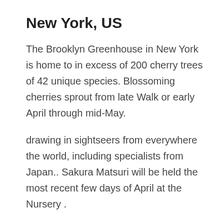New York, US
The Brooklyn Greenhouse in New York is home to in excess of 200 cherry trees of 42 unique species. Blossoming cherries sprout from late Walk or early April through mid-May.
drawing in sightseers from everywhere the world, including specialists from Japan.. Sakura Matsuri will be held the most recent few days of April at the Nursery .
With various exercises and exhibitions observing Japanese culture.